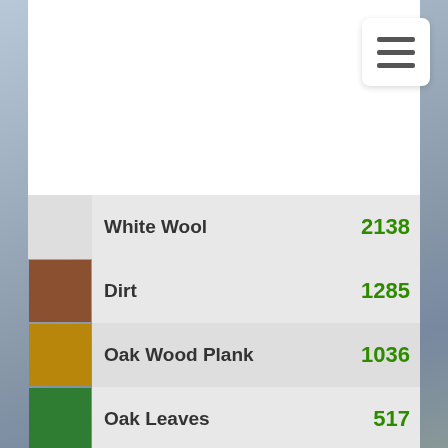[Figure (screenshot): Menu/hamburger icon button, white rounded square with three dark horizontal bars]
|  | Name | Count |
| --- | --- | --- |
|  | White Wool | 2138 |
| brown | Dirt | 1285 |
| golden | Oak Wood Plank | 1036 |
| green | Oak Leaves | 517 |
| light gray | Glass | 432 |
| bright green | Grass | 404 |
| gray | Stone | 244 |
| light gray | Stone Slab | 158 |